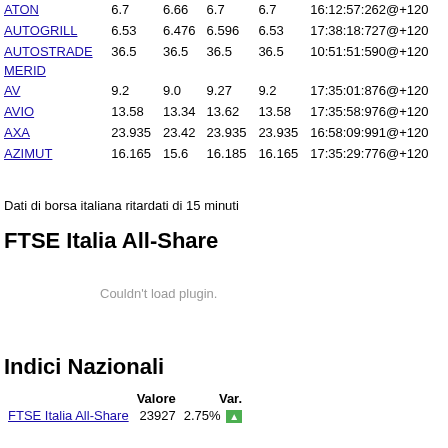| Name | Col1 | Col2 | Col3 | Col4 | Timestamp |
| --- | --- | --- | --- | --- | --- |
| ATON | 6.7 | 6.66 | 6.7 | 6.7 | 16:12:57:262@+120 |
| AUTOGRILL | 6.53 | 6.476 | 6.596 | 6.53 | 17:38:18:727@+120 |
| AUTOSTRADE MERID | 36.5 | 36.5 | 36.5 | 36.5 | 10:51:51:590@+120 |
| AV | 9.2 | 9.0 | 9.27 | 9.2 | 17:35:01:876@+120 |
| AVIO | 13.58 | 13.34 | 13.62 | 13.58 | 17:35:58:976@+120 |
| AXA | 23.935 | 23.42 | 23.935 | 23.935 | 16:58:09:991@+120 |
| AZIMUT | 16.165 | 15.6 | 16.185 | 16.165 | 17:35:29:776@+120 |
Dati di borsa italiana ritardati di 15 minuti
FTSE Italia All-Share
[Figure (other): Couldn't load plugin. placeholder area]
Indici Nazionali
| Name | Valore | Var. |
| --- | --- | --- |
| FTSE Italia All-Share | 23927 | 2.75% |